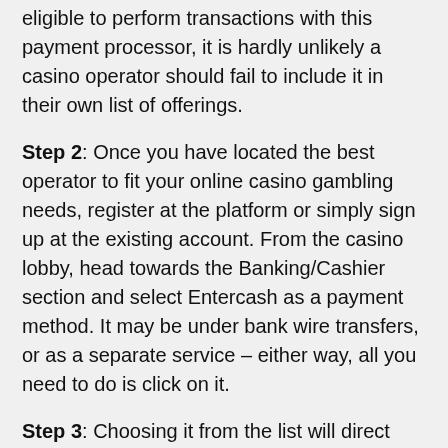eligible to perform transactions with this payment processor, it is hardly unlikely a casino operator should fail to include it in their own list of offerings.
Step 2: Once you have located the best operator to fit your online casino gambling needs, register at the platform or simply sign up at the existing account. From the casino lobby, head towards the Banking/Cashier section and select Entercash as a payment method. It may be under bank wire transfers, or as a separate service – either way, all you need to do is click on it.
Step 3: Choosing it from the list will direct players straight to the banking and financial institutions partnered with the service, from the respective player's country of residence. Fear not, as this capability is fully allowed for geolocation and legal purposes, and does not invade players' privacy nor does it misuse any of their personal information. Select the bank where you hold an account and the following window will direct you to your familiar online banking platform.